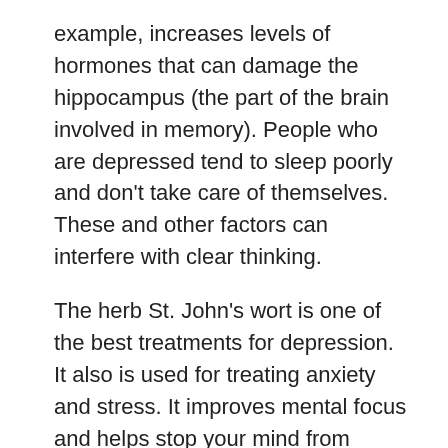example, increases levels of hormones that can damage the hippocampus (the part of the brain involved in memory). People who are depressed tend to sleep poorly and don't take care of themselves. These and other factors can interfere with clear thinking.
The herb St. John's wort is one of the best treatments for depression. It also is used for treating anxiety and stress. It improves mental focus and helps stop your mind from "spinning."
A review of 29 studies involving 5,489 patients, published by The Cochrane Collaboration can organization that analyzes medical research), concluded that St. John's wort was just as effective as prescription antidepressants, while causing fewer